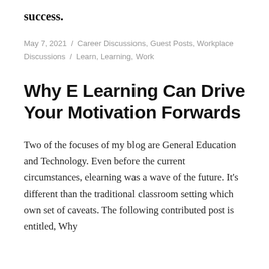success.
May 7, 2021 / Career Discussions, Guest Posts, Workplace Discussions / Learn, Learning, Work
Why E Learning Can Drive Your Motivation Forwards
Two of the focuses of my blog are General Education and Technology. Even before the current circumstances, elearning was a wave of the future. It’s different than the traditional classroom setting which own set of caveats. The following contributed post is entitled, Why